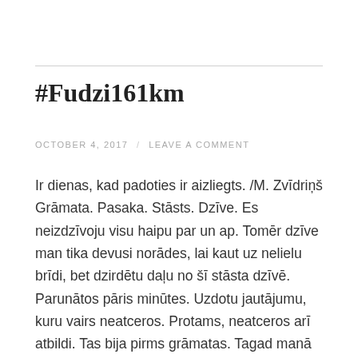#Fudzi161km
OCTOBER 4, 2017  /  LEAVE A COMMENT
Ir dienas, kad padoties ir aizliegts. /M. Zvīdriņš Grāmata. Pasaka. Stāsts. Dzīve. Es neizdzīvoju visu haipu par un ap. Tomēr dzīve man tika devusi norādes, lai kaut uz nelielu brīdi, bet dzirdētu daļu no šī stāsta dzīvē. Parunātos pāris minūtes. Uzdotu jautājumu, kuru vairs neatceros. Protams, neatceros arī atbildi. Tas bija pirms grāmatas. Tagad manā … Continue reading